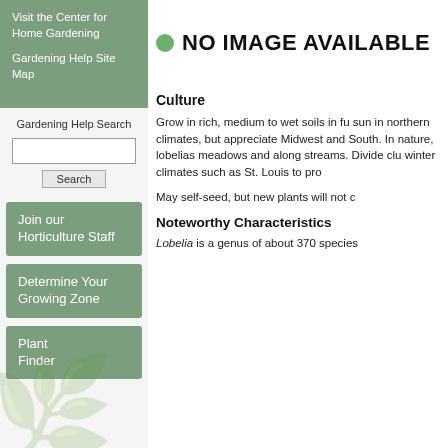Visit the Center for Home Gardening
Gardening Help Site Map
Gardening Help Search
[Figure (screenshot): Search input box and Search button]
Join our Horticulture Staff
Determine Your Growing Zone
Plant Finder
[Figure (other): NO IMAGE AVAILABLE with green circle icon]
Culture
Grow in rich, medium to wet soils in fu sun in northern climates, but appreciate Midwest and South. In nature, lobelias meadows and along streams. Divide clu winter climates such as St. Louis to pro
May self-seed, but new plants will not c
Noteworthy Characteristics
Lobelia is a genus of about 370 species